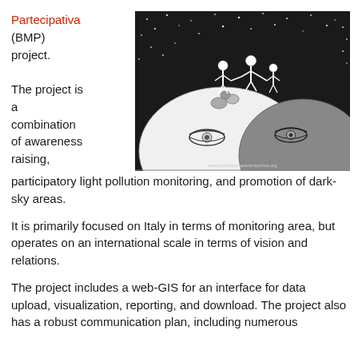Partecipativa (BMP) project.
[Figure (illustration): Black and white hand-drawn illustration showing two moon faces side by side (one light, one dark) with alien/human figures standing on top against a starry background. URL: www.bulometriapartecipativa.org]
The project is a combination of awareness raising, participatory light pollution monitoring, and promotion of dark-sky areas.
It is primarily focused on Italy in terms of monitoring area, but operates on an international scale in terms of vision and relations.
The project includes a web-GIS for an interface for data upload, visualization, reporting, and download. The project also has a robust communication plan, including numerous